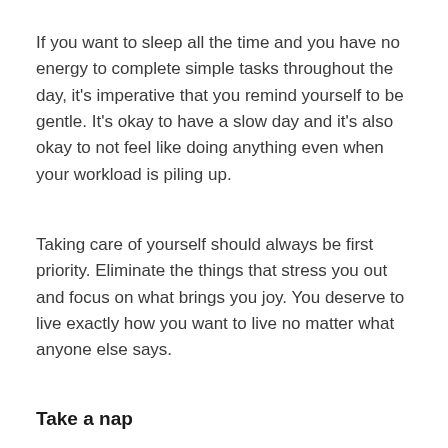If you want to sleep all the time and you have no energy to complete simple tasks throughout the day, it's imperative that you remind yourself to be gentle. It's okay to have a slow day and it's also okay to not feel like doing anything even when your workload is piling up.
Taking care of yourself should always be first priority. Eliminate the things that stress you out and focus on what brings you joy. You deserve to live exactly how you want to live no matter what anyone else says.
Take a nap